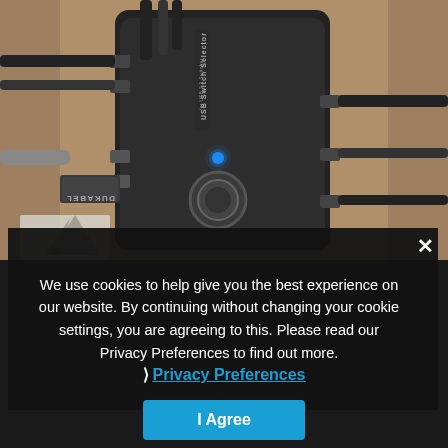[Figure (photo): Photo of a USB Switch Selector device with multiple USB cables connected, a blue LED indicator light, and a round button on top. A DuKabel branded USB drive is visible on the left side. The device is sitting on a brown/tan surface.]
We use cookies to help give you the best experience on our website. By continuing without changing your cookie settings, you are agreeing to this. Please read our Privacy Preferences to find out more.
Privacy Preferences
I Agree